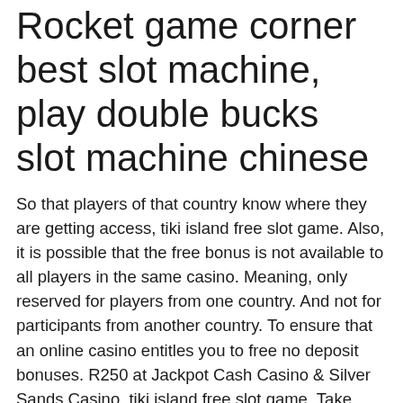Rocket game corner best slot machine, play double bucks slot machine chinese
So that players of that country know where they are getting access, tiki island free slot game. Also, it is possible that the free bonus is not available to all players in the same casino. Meaning, only reserved for players from one country. And not for participants from another country. To ensure that an online casino entitles you to free no deposit bonuses. R250 at Jackpot Cash Casino & Silver Sands Casino, tiki island free slot game. Take action now for maximum saving as these discount codes will not valid forever, flipping out slot machine. All of the slot machines have different odds, which change every time. What the the odds of the